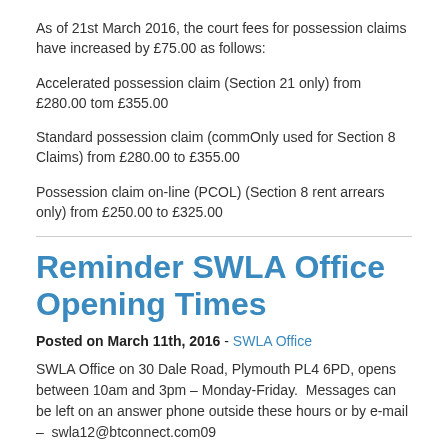As of 21st March 2016, the court fees for possession claims have increased by £75.00 as follows:
Accelerated possession claim (Section 21 only) from £280.00 tom £355.00
Standard possession claim (commOnly used for Section 8 Claims) from £280.00 to £355.00
Possession claim on-line (PCOL) (Section 8 rent arrears only) from £250.00 to £325.00
Reminder SWLA Office Opening Times
Posted on March 11th, 2016 - SWLA Office
SWLA Office on 30 Dale Road, Plymouth PL4 6PD, opens between 10am and 3pm – Monday-Friday.  Messages can be left on an answer phone outside these hours or by e-mail –  swla12@btconnect.com09